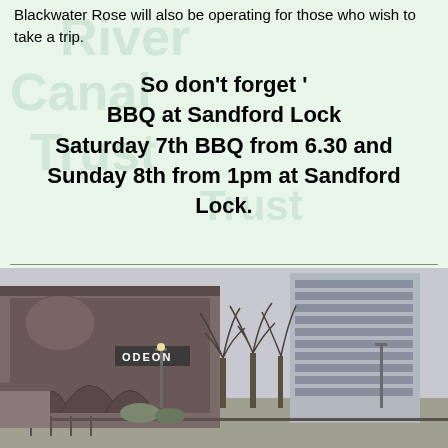Blackwater Rose will also be operating for those who wish to take a trip.
So don't forget '
BBQ at Sandford Lock
Saturday 7th BBQ from 6.30 and
Sunday 8th from 1pm at Sandford Lock.
[Figure (photo): Black and white photograph of an Odeon cinema building with a modern multi-story building in the background, trees visible, urban street scene.]